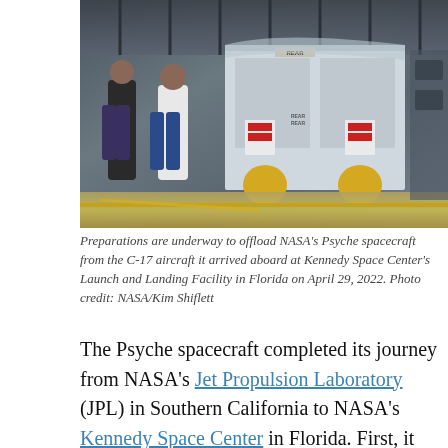[Figure (photo): Interior of a C-17 aircraft cargo hold showing workers preparing to offload NASA's Psyche spacecraft. Large white container visible with yellow straps on the floor.]
Preparations are underway to offload NASA's Psyche spacecraft from the C-17 aircraft it arrived aboard at Kennedy Space Center's Launch and Landing Facility in Florida on April 29, 2022. Photo credit: NASA/Kim Shiflett
The Psyche spacecraft completed its journey from NASA's Jet Propulsion Laboratory (JPL) in Southern California to NASA's Kennedy Space Center in Florida. First, it traveled to March Air Reserve Base, about 55 miles southeast of JPL, before flying on to...